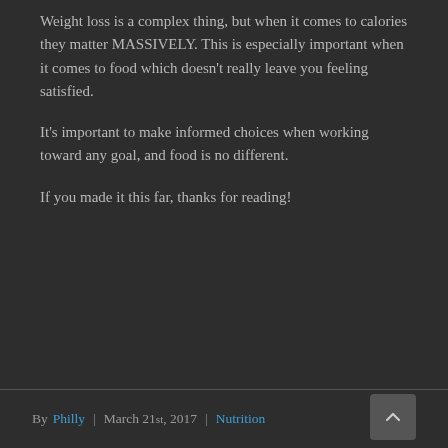Weight loss is a complex thing, but when it comes to calories they matter MASSIVELY. This is especially important when it comes to food which doesn't really leave you feeling satisfied.
It's important to make informed choices when working toward any goal, and food is no different.
If you made it this far, thanks for reading!
By Philly | March 21st, 2017 | Nutrition